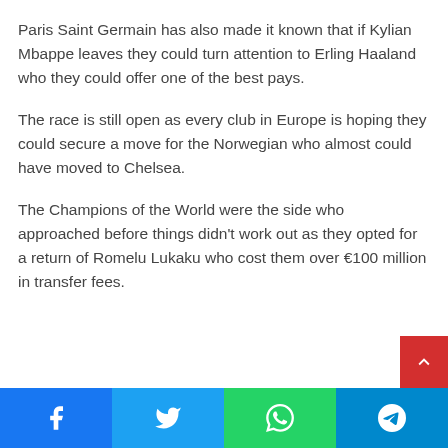Paris Saint Germain has also made it known that if Kylian Mbappe leaves they could turn attention to Erling Haaland who they could offer one of the best pays.
The race is still open as every club in Europe is hoping they could secure a move for the Norwegian who almost could have moved to Chelsea.
The Champions of the World were the side who approached before things didn't work out as they opted for a return of Romelu Lukaku who cost them over €100 million in transfer fees.